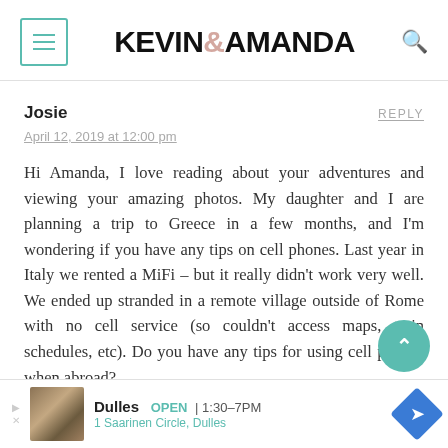KEVIN & AMANDA
Josie
REPLY
April 12, 2019 at 12:00 pm
Hi Amanda, I love reading about your adventures and viewing your amazing photos. My daughter and I are planning a trip to Greece in a few months, and I'm wondering if you have any tips on cell phones. Last year in Italy we rented a MiFi – but it really didn't work very well. We ended up stranded in a remote village outside of Rome with no cell service (so couldn't access maps, train schedules, etc). Do you have any tips for using cell phones when abroad?
[Figure (other): Advertisement bar showing Dulles restaurant, OPEN 1:30-7PM, 1 Saarinen Circle Dulles, with navigation icon]